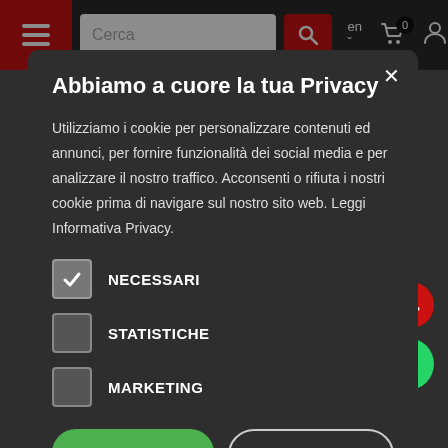[Figure (screenshot): Website navigation bar with hamburger menu, search box, language selector, cart icon with badge 0, and user icon on dark/red background]
Abbiamo a cuore la tua Privacy
Utilizziamo i cookie per personalizzare contenuti ed annunci, per fornire funzionalità dei social media e per analizzare il nostro traffico. Acconsenti o rifiuta i nostri cookie prima di navigare sul nostro sito web. Leggi Informativa Privacy.
NECESSARI
STATISTICHE
MARKETING
ACCETTA TUTTI
RIFIUTA
MAGGIORI DETTAGLI SUI COOKIE